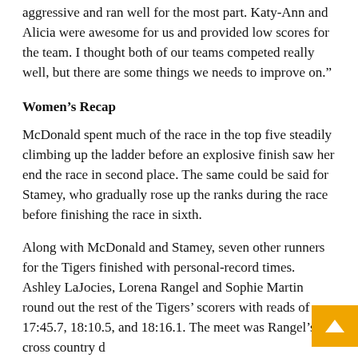aggressive and ran well for the most part. Katy-Ann and Alicia were awesome for us and provided low scores for the team. I thought both of our teams competed really well, but there are some things we needs to improve on.”
Women’s Recap
McDonald spent much of the race in the top five steadily climbing up the ladder before an explosive finish saw her end the race in second place. The same could be said for Stamey, who gradually rose up the ranks during the race before finishing the race in sixth.
Along with McDonald and Stamey, seven other runners for the Tigers finished with personal-record times. Ashley LaJocies, Lorena Rangel and Sophie Martin round out the rest of the Tigers’ scorers with reads of 17:45.7, 18:10.5, and 18:16.1. The meet was Rangel’s cross country d… where she, along with Martin, saw their first score f… Tigers.